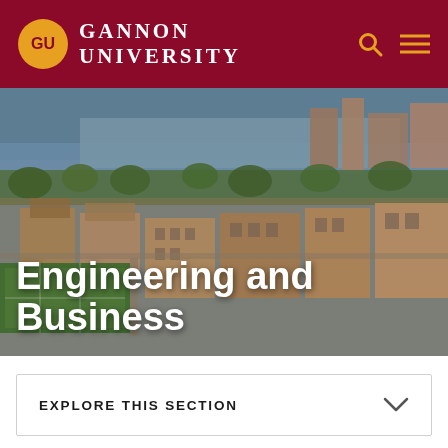GU Gannon University
[Figure (photo): Aerial view of Gannon University campus and surrounding Erie, PA cityscape with river and harbor in background]
Engineering and Business
EXPLORE THIS SECTION